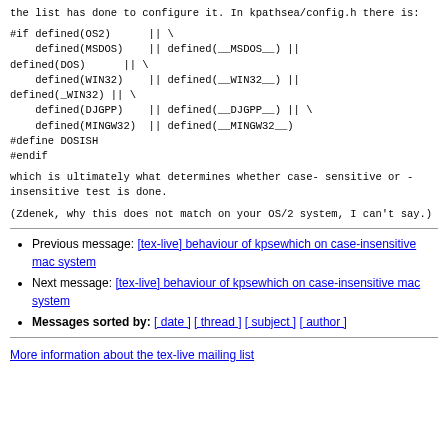the list has done to configure it. In kpathsea/config.h there is:
which is ultimately what determines whether case-sensitive or
-insensitive test is done.
(Zdenek, why this does not match on your OS/2 system, I
can't say.)
Previous message: [tex-live] behaviour of kpsewhich on case-insensitive mac system
Next message: [tex-live] behaviour of kpsewhich on case-insensitive mac system
Messages sorted by: [ date ] [ thread ] [ subject ] [ author ]
More information about the tex-live mailing list